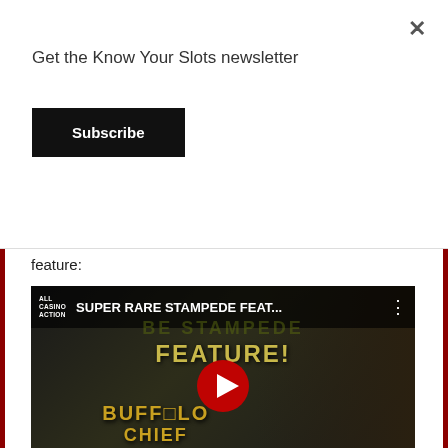Get the Know Your Slots newsletter
Subscribe
feature:
[Figure (screenshot): YouTube video thumbnail showing Buffalo Chief slot machine game with text 'SUPER RARE STAMPEDE FEAT... FEATURE!' and a woman smiling. Channel name: ALL CASINO ACTION. Red YouTube play button visible.]
Here’s another video from Slotlady with a jackpot hit and strong buffalo win as well: